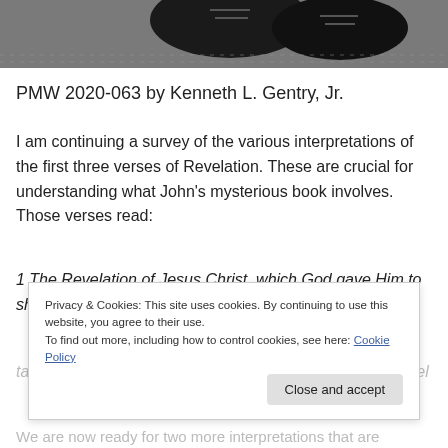[Figure (photo): Partial image of black leather shoes on pavement, cropped at top of page]
PMW 2020-063 by Kenneth L. Gentry, Jr.
I am continuing a survey of the various interpretations of the first three verses of Revelation. These are crucial for understanding what John's mysterious book involves. Those verses read:
1 The Revelation of Jesus Christ, which God gave Him to show to His bond-servants, the things which must soon
Privacy & Cookies: This site uses cookies. By continuing to use this website, you agree to their use.
To find out more, including how to control cookies, see here: Cookie Policy
Close and accept
We are now ready for two more interpretations that are